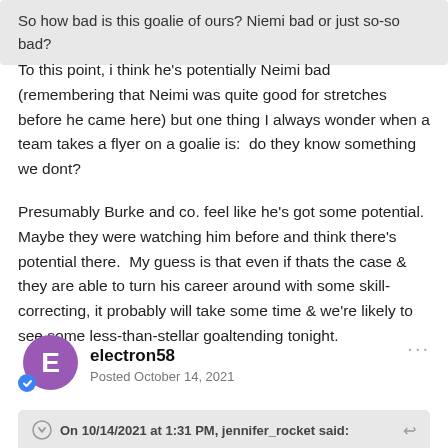So how bad is this goalie of ours? Niemi bad or just so-so bad?
To this point, i think he's potentially Neimi bad (remembering that Neimi was quite good for stretches before he came here) but one thing I always wonder when a team takes a flyer on a goalie is:  do they know something we dont?

Presumably Burke and co. feel like he's got some potential. Maybe they were watching him before and think there's potential there.  My guess is that even if thats the case & they are able to turn his career around with some skill-correcting, it probably will take some time & we're likely to see some less-than-stellar goaltending tonight.
electron58
Posted October 14, 2021
On 10/14/2021 at 1:31 PM, jennifer_rocket said:
I wonder if Montembeault plays this evening?